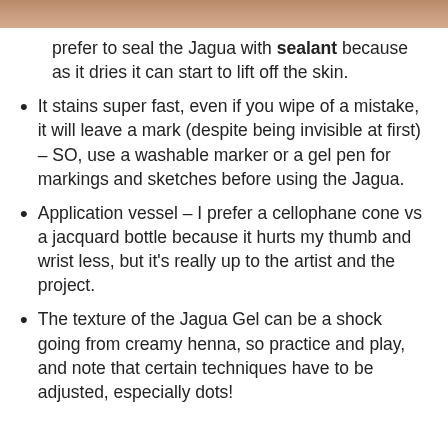[Figure (photo): Partial photo of a person's face/head at the top of the page, cropped to a thin strip]
prefer to seal the Jagua with sealant because as it dries it can start to lift off the skin.
It stains super fast, even if you wipe of a mistake, it will leave a mark (despite being invisible at first) – SO, use a washable marker or a gel pen for markings and sketches before using the Jagua.
Application vessel – I prefer a cellophane cone vs a jacquard bottle because it hurts my thumb and wrist less, but it's really up to the artist and the project.
The texture of the Jagua Gel can be a shock going from creamy henna, so practice and play, and note that certain techniques have to be adjusted, especially dots!